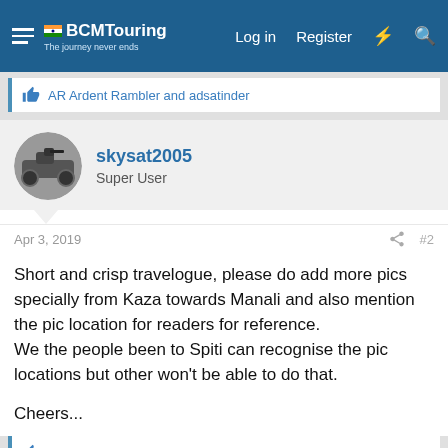BCMTouring — Log in  Register
AR Ardent Rambler and adsatinder
skysat2005
Super User
Apr 3, 2019  #2
Short and crisp travelogue, please do add more pics specially from Kaza towards Manali and also mention the pic location for readers for reference.
We the people been to Spiti can recognise the pic locations but other won't be able to do that.
Cheers...
AR Ardent Rambler and adsatinder